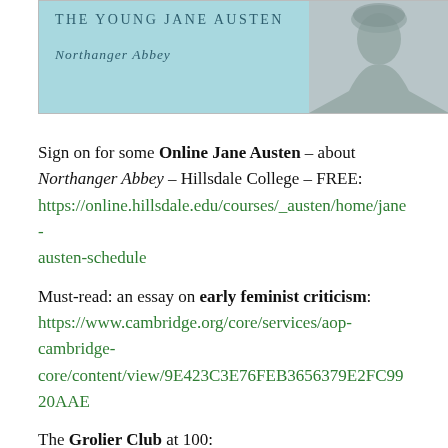[Figure (illustration): Book/course banner for 'The Young Jane Austen – Northanger Abbey' with teal background and portrait of a woman on the right side]
Sign on for some Online Jane Austen – about Northanger Abbey – Hillsdale College – FREE: https://online.hillsdale.edu/courses/_austen/home/jane-austen-schedule
Must-read: an essay on early feminist criticism: https://www.cambridge.org/core/services/aop-cambridge-core/content/view/9E423C3E76FEB3656379E2FC9920AAE
The Grolier Club at 100: https://www.nytimes.com/2019/01/17/arts/design/book